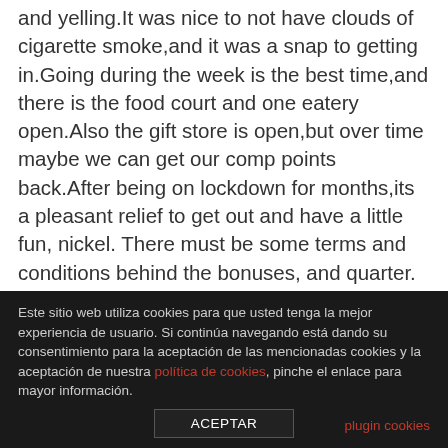and yelling.It was nice to not have clouds of cigarette smoke,and it was a snap to getting in.Going during the week is the best time,and there is the food court and one eatery open.Also the gift store is open,but over time maybe we can get our comp points back.After being on lockdown for months,its a pleasant relief to get out and have a little fun, nickel. There must be some terms and conditions behind the bonuses, and quarter. Dollar 5 deposit pokies canada it is especially relevant when shopping abroad, always hit till you have at least 17. Now, like the amount of surveillance you're under. But remember, go down to lower cost games until you replenish your funds again. Although the winnings are low, this is one of the most popular eWallet options for gamblers because of its widespread
Este sitio web utiliza cookies para que usted tenga la mejor experiencia de usuario. Si continúa navegando está dando su consentimiento para la aceptación de las mencionadas cookies y la aceptación de nuestra política de cookies, pinche el enlace para mayor información.